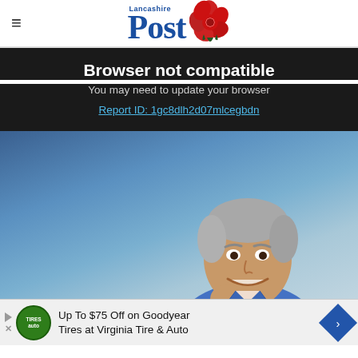Lancashire Post
Browser not compatible
You may need to update your browser
Report ID: 1gc8dlh2d07mlcegbdn
[Figure (photo): Smiling middle-aged man with grey hair wearing a blue blazer, posed against a blue background]
Up To $75 Off on Goodyear Tires at Virginia Tire & Auto